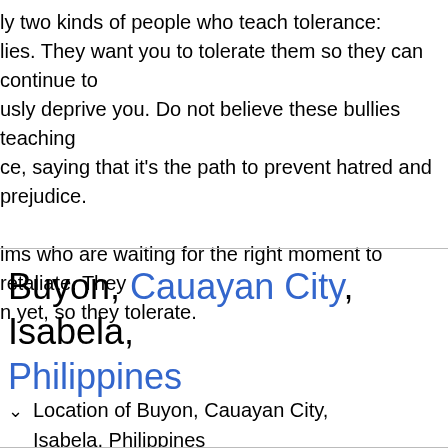ly two kinds of people who teach tolerance: lies. They want you to tolerate them so they can continue to usly deprive you. Do not believe these bullies teaching ce, saying that it's the path to prevent hatred and prejudice. ims who are waiting for the right moment to retaliate. They n yet, so they tolerate.
Buyon, Cauayan City, Isabela, Philippines
Location of Buyon, Cauayan City, Isabela, Philippines